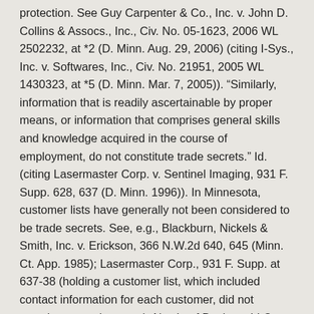protection. See Guy Carpenter & Co., Inc. v. John D. Collins & Assocs., Inc., Civ. No. 05-1623, 2006 WL 2502232, at *2 (D. Minn. Aug. 29, 2006) (citing I-Sys., Inc. v. Softwares, Inc., Civ. No. 21951, 2005 WL 1430323, at *5 (D. Minn. Mar. 7, 2005)). “Similarly, information that is readily ascertainable by proper means, or information that comprises general skills and knowledge acquired in the course of employment, do not constitute trade secrets.” Id. (citing Lasermaster Corp. v. Sentinel Imaging, 931 F. Supp. 628, 637 (D. Minn. 1996)). In Minnesota, customer lists have generally not been considered to be trade secrets. See, e.g., Blackburn, Nickels & Smith, Inc. v. Erickson, 366 N.W.2d 640, 645 (Minn. Ct. App. 1985); Lasermaster Corp., 931 F. Supp. at 637-38 (holding a customer list, which included contact information for each customer, did not constitute a trade secret); NewLeaf Designs, LLC v. BestBins Corp., 168 F. Supp. 2d 1039, 1043-44 (D.